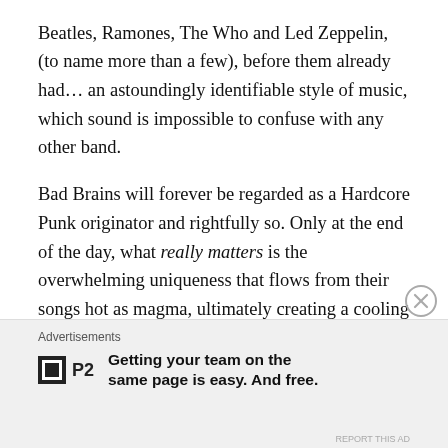Beatles, Ramones, The Who and Led Zeppelin, (to name more than a few), before them already had… an astoundingly identifiable style of music, which sound is impossible to confuse with any other band.
Bad Brains will forever be regarded as a Hardcore Punk originator and rightfully so. Only at the end of the day, what really matters is the overwhelming uniqueness that flows from their songs hot as magma, ultimately creating a cooling down – experience in music listening, which once again gets ramped up from the Bad Brains ride you embark on… a Bad Brains trip never stays the same. Sound cool? Bad Brains is just that. In the sad event you have never listened to Bad Brains, there is still time to
Advertisements
Getting your team on the same page is easy. And free.